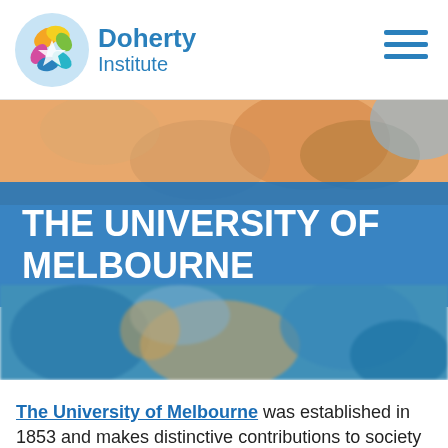Doherty Institute
[Figure (photo): Hero image showing medical/research scene with an orange/peach upper section, a blue overlay band with title text 'THE UNIVERSITY OF MELBOURNE', and a lower blurred photo of medical personnel]
THE UNIVERSITY OF MELBOURNE
The University of Melbourne was established in 1853 and makes distinctive contributions to society in research